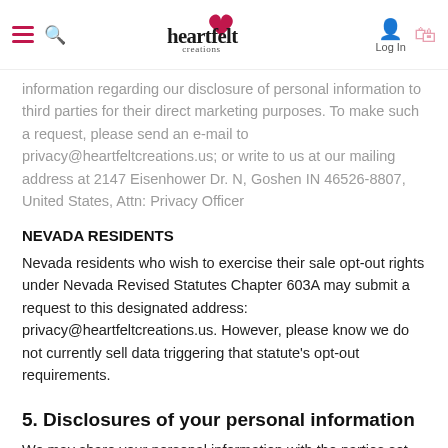heartfelt creations — Log In
information regarding our disclosure of personal information to third parties for their direct marketing purposes. To make such a request, please send an e-mail to privacy@heartfeltcreations.us; or write to us at our mailing address at 2147 Eisenhower Dr. N, Goshen IN 46526-8807, United States, Attn: Privacy Officer
NEVADA RESIDENTS
Nevada residents who wish to exercise their sale opt-out rights under Nevada Revised Statutes Chapter 603A may submit a request to this designated address: privacy@heartfeltcreations.us. However, please know we do not currently sell data triggering that statute's opt-out requirements.
5. Disclosures of your personal information
We may share your personal information with the parties set out below for the purposes set out in the table